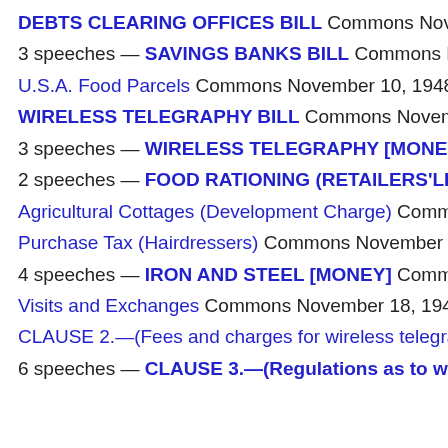DEBTS CLEARING OFFICES BILL Commons November 5, 1…
3 speeches — SAVINGS BANKS BILL Commons November …
U.S.A. Food Parcels Commons November 10, 1948
WIRELESS TELEGRAPHY BILL Commons November 10, 194…
3 speeches — WIRELESS TELEGRAPHY [MONEY] Commo…
2 speeches — FOOD RATIONING (RETAILERS'LICENCES)
Agricultural Cottages (Development Charge) Commons Nove…
Purchase Tax (Hairdressers) Commons November 16, 1948
4 speeches — IRON AND STEEL [MONEY] Commons Nove…
Visits and Exchanges Commons November 18, 1948
CLAUSE 2.—(Fees and charges for wireless telegraphy licenc…
6 speeches — CLAUSE 3.—(Regulations as to wireless tele…